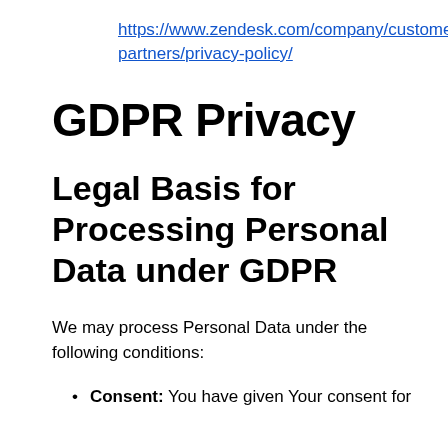https://www.zendesk.com/company/customers-partners/privacy-policy/
GDPR Privacy
Legal Basis for Processing Personal Data under GDPR
We may process Personal Data under the following conditions:
Consent: You have given Your consent for